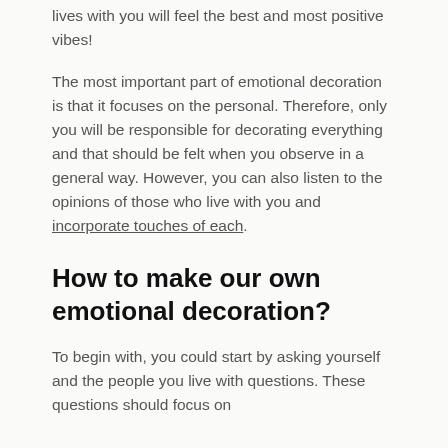lives with you will feel the best and most positive vibes!
The most important part of emotional decoration is that it focuses on the personal. Therefore, only you will be responsible for decorating everything and that should be felt when you observe in a general way. However, you can also listen to the opinions of those who live with you and incorporate touches of each.
How to make our own emotional decoration?
To begin with, you could start by asking yourself and the people you live with questions. These questions should focus on